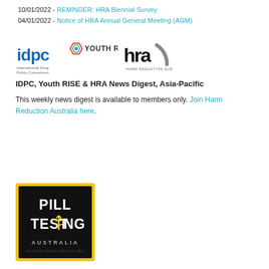10/01/2022 - REMINDER: HRA Biennial Survey
04/01/2022 - Notice of HRA Annual General Meeting (AGM)
[Figure (logo): IDPC, Youth RISE, and Harm Reduction Australia logos side by side]
IDPC, Youth RISE & HRA News Digest, Asia-Pacific
This weekly news digest is available to members only. Join Harm Reduction Australia here.
[Figure (logo): Pill Testing Australia logo – black background with yellow border, white text reading PILL TESTING AUSTRALIA with a caduceus symbol]